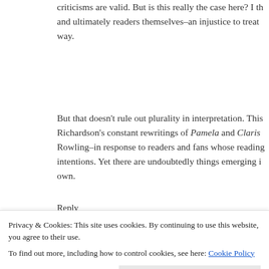criticisms are valid. But is this really the case here? I th... and ultimately readers themselves–an injustice to treat... way.
But that doesn't rule out plurality in interpretation. This... Richardson's constant rewritings of Pamela and Claris... Rowling–in response to readers and fans whose reading... intentions. Yet there are undoubtedly things emerging i... own.
Reply
Lucy Northenra says:
Privacy & Cookies: This site uses cookies. By continuing to use this website, you agree to their use.
To find out more, including how to control cookies, see here: Cookie Policy
Close and accept
haemophilia, and it was the perception of the monstrou...